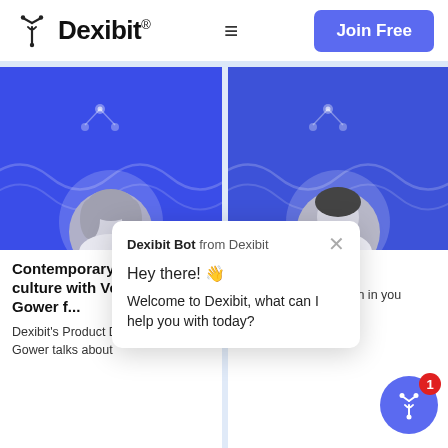Dexibit® | Join Free
[Figure (screenshot): Two blog post cards on Dexibit website with a chatbot popup overlay. Left card shows a woman with text: 'Contemporary product culture with Veronika Gower f...' and 'Dexibit's Product Director Veronika Gower talks about'. Right card shows a man with text 'The Mi...' and 'Setting up a d function in you visitor attraction?'. Chatbot popup says 'Dexibit Bot from Dexibit' with greeting 'Hey there! 👋 Welcome to Dexibit, what can I help you with today?'. A floating action button with badge '1' appears bottom right.]